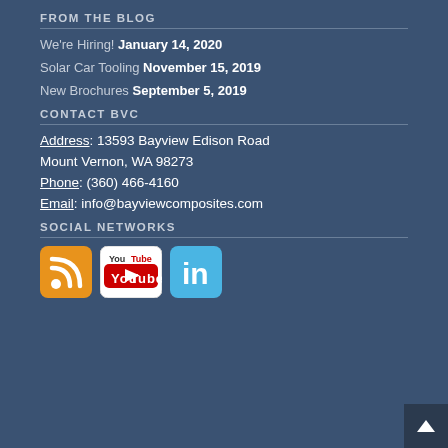FROM THE BLOG
We're Hiring! January 14, 2020
Solar Car Tooling November 15, 2019
New Brochures September 5, 2019
CONTACT BVC
Address: 13593 Bayview Edison Road
Mount Vernon, WA 98273
Phone: (360) 466-4160
Email: info@bayviewcomposites.com
SOCIAL NETWORKS
[Figure (logo): RSS feed icon, YouTube icon, and LinkedIn icon social network logos]